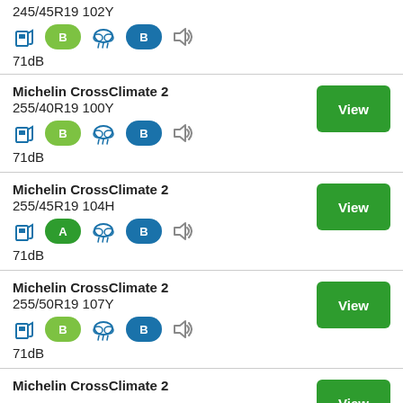245/45R19 102Y — fuel: B, wet: B, noise: 71dB
Michelin CrossClimate 2 255/40R19 100Y — fuel: B, wet: B, noise: 71dB
Michelin CrossClimate 2 255/45R19 104H — fuel: A, wet: B, noise: 71dB
Michelin CrossClimate 2 255/50R19 107Y — fuel: B, wet: B, noise: 71dB
Michelin CrossClimate 2 (partial)